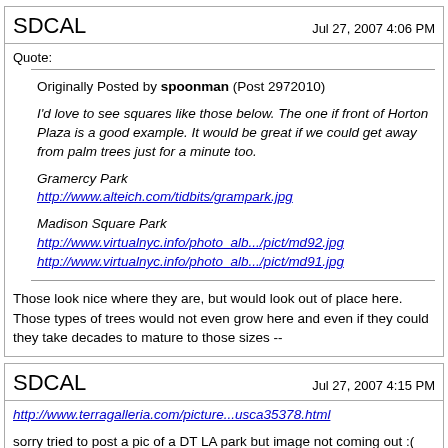SDCAL   Jul 27, 2007 4:06 PM
Quote:
Originally Posted by spoonman (Post 2972010)
I'd love to see squares like those below. The one if front of Horton Plaza is a good example. It would be great if we could get away from palm trees just for a minute too.

Gramercy Park
http://www.alteich.com/tidbits/grampark.jpg

Madison Square Park
http://www.virtualnyc.info/photo_alb.../pict/md92.jpg
http://www.virtualnyc.info/photo_alb.../pict/md91.jpg
Those look nice where they are, but would look out of place here. Those types of trees would not even grow here and even if they could they take decades to mature to those sizes --
SDCAL   Jul 27, 2007 4:15 PM
http://www.terragalleria.com/picture...usca35378.html
sorry tried to post a pic of a DT LA park but image not coming out :(